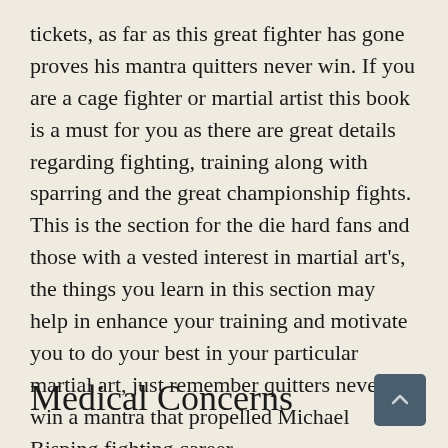tickets, as far as this great fighter has gone proves his mantra quitters never win. If you are a cage fighter or martial artist this book is a must for you as there are great details regarding fighting, training along with sparring and the great championship fights. This is the section for the die hard fans and those with a vested interest in martial art's, the things you learn in this section may help in enhance your training and motivate you to do your best in your particular martial art, just remember quitters never win a mantra that propelled Michael Bisping fighting career.
Medical Concerns